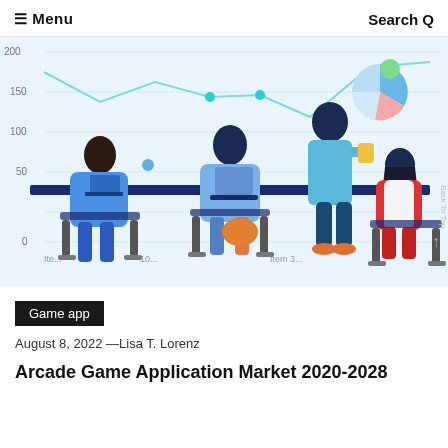≡ Menu   Search Q
[Figure (illustration): Business illustration of four people working at a desk with laptops and charts, overlaid on a line chart and pie chart background graphic showing data analysis theme]
Game app
August 8, 2022 —Lisa T. Lorenz
Arcade Game Application Market 2020-2028